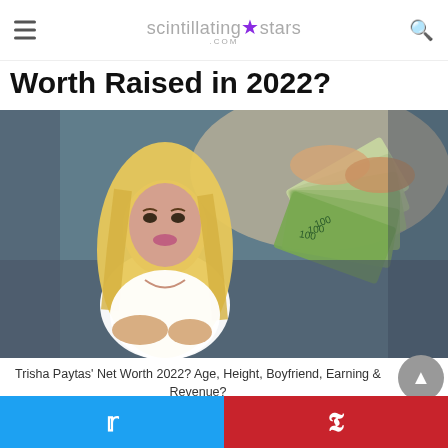scintillating★stars .com
Worth Raised in 2022?
[Figure (photo): Composite image of a blonde woman in a white top overlaid on a photo of hands fanning out US $100 dollar bills]
Trisha Paytas' Net Worth 2022? Age, Height, Boyfriend, Earning & Revenue?